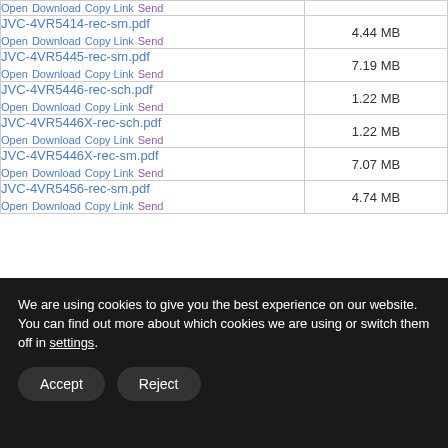| File | Size |
| --- | --- |
| JVC-4VR5414-rec-sm.pdf
Open Download Copy Link Send | 4.44 MB |
| JVC-4VR5445-rec-sm.pdf
Open Download Copy Link Send | 7.19 MB |
| JVC-4VR5446-rec-sch.pdf
Open Download Copy Link Send | 1.22 MB |
| JVC-4VR5446X-rec-sch.pdf
Open Download Copy Link Send | 1.22 MB |
| JVC-4VR5446X-rec-sm.pdf
Open Download Copy Link Send | 7.07 MB |
| JVC-4VR5456-rec-sm.pdf
Open Download Copy Link Send | 4.74 MB |
We are using cookies to give you the best experience on our website.
You can find out more about which cookies we are using or switch them off in settings.